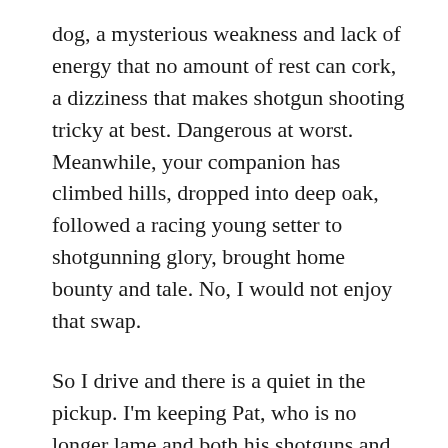dog, a mysterious weakness and lack of energy that no amount of rest can cork, a dizziness that makes shotgun shooting tricky at best. Dangerous at worst. Meanwhile, your companion has climbed hills, dropped into deep oak, followed a racing young setter to shotgunning glory, brought home bounty and tale. No, I would not enjoy that swap.
So I drive and there is a quiet in the pickup. I'm keeping Pat, who is no longer lame and both his shotguns and his travel trailer and he's flying home to Montana and a warm fireplace and a good wife who will take care of him. I wonder, as I steer through the rising dawn, what his thoughts are. I wonder if he knows